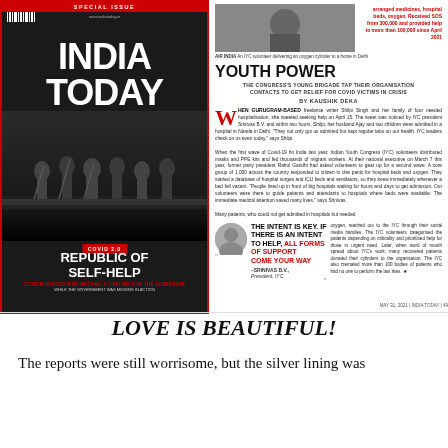[Figure (photo): India Today magazine cover showing 'Republic of Self-Help' special issue with COVID 2.0 theme, featuring silhouettes of masked figures on a dark background]
[Figure (photo): Article page from India Today titled 'Youth Power' about Indian Youth Congress volunteers helping COVID victims, with article text, pull quote, and portrait photo]
LOVE IS BEAUTIFUL!
The reports were still worrisome, but the silver lining was